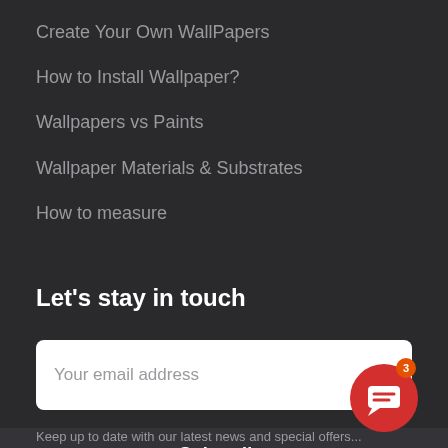Create Your Own WallPapers
How to Install Wallpaper?
Wallpapers vs Paints
Wallpaper Materials & Substrates
How to measure
Let's stay in touch
Your email address
Subscribe
[Figure (other): Red circular chat button with message icon and orange notification badge showing 3]
Keep up to date with our latest news and special offers...